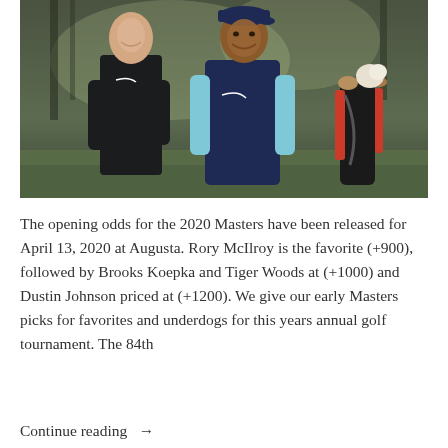[Figure (photo): Two golfers walking and smiling on a golf course. The man on the left wears a black Nike jacket, the man on the right wears a navy blue Nike vest over a light blue shirt and a navy cap. A golf bag is partially visible on the right.]
The opening odds for the 2020 Masters have been released for April 13, 2020 at Augusta. Rory McIlroy is the favorite (+900), followed by Brooks Koepka and Tiger Woods at (+1000) and Dustin Johnson priced at (+1200). We give our early Masters picks for favorites and underdogs for this years annual golf tournament. The 84th
Continue reading →